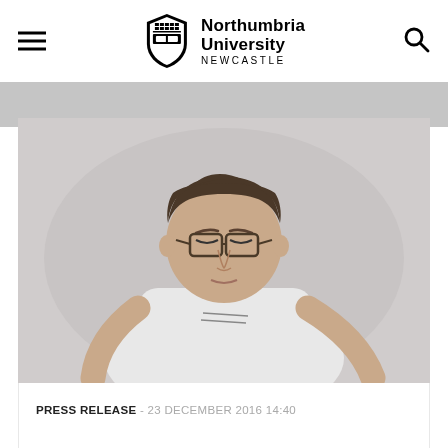Northumbria University NEWCASTLE
[Figure (photo): Middle-aged man with glasses looking down, wearing a white t-shirt, against a light grey background]
PRESS RELEASE - 23 DECEMBER 2016 14:40